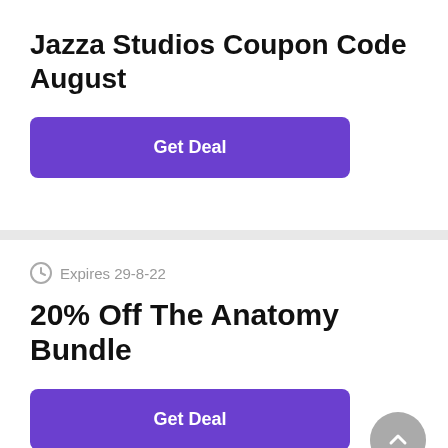Jazza Studios Coupon Code August
[Figure (other): Purple 'Get Deal' button]
Expires 29-8-22
20% Off The Anatomy Bundle
[Figure (other): Purple 'Get Deal' button]
Expires 31-11-22